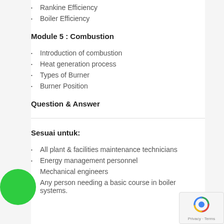Rankine Efficiency
Boiler Efficiency
Module 5 : Combustion
Introduction of combustion
Heat generation process
Types of Burner
Burner Position
Question & Answer
Sesuai untuk:
All plant & facilities maintenance technicians
Energy management personnel
Mechanical engineers
Any person needing a basic course in boiler systems.